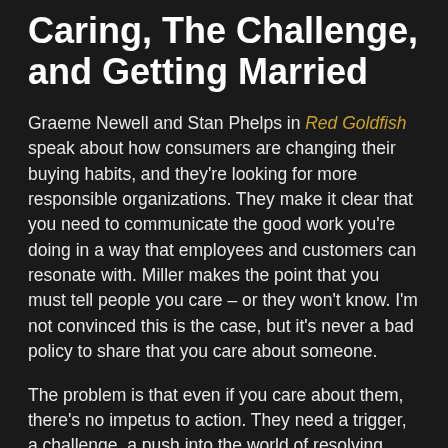Caring, The Challenge, and Getting Married
Graeme Newell and Stan Phelps in Red Goldfish speak about how consumers are changing their buying habits, and they're looking for more responsible organizations. They make it clear that you need to communicate the good work you're doing in a way that employees and customers can resonate with. Miller makes the point that you must tell people you care – or they won't know. I'm not convinced this is the case, but it's never a bad policy to share that you care about someone.
The problem is that even if you care about them, there's no impetus to action. They need a trigger, a challenge, a push into the world of resolving their challenges. They need to have that moment of conviction when they decide they need to address the challenges.
However, the challenge has to be such that it seems more like asking the customer out on a date – a chance to get to